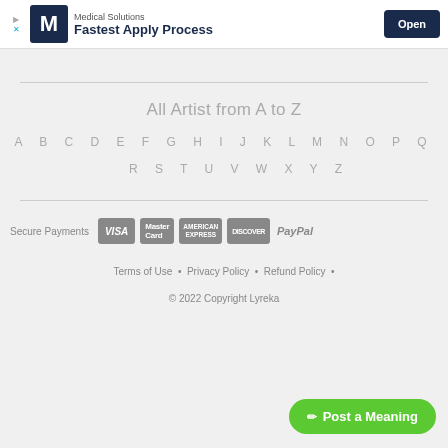[Figure (screenshot): Ad banner for Medical Solutions with M logo, 'Fastest Apply Process' text and Open button]
All Artist from A to Z
A B C D E F G H I J K L M N O P Q
R S T U V W X Y Z
[Figure (logo): Secure Payments logos: VISA, MasterCard, American Express, Discover, PayPal]
Terms of Use • Privacy Policy • Refund Policy •
© 2022 Copyright Lyreka